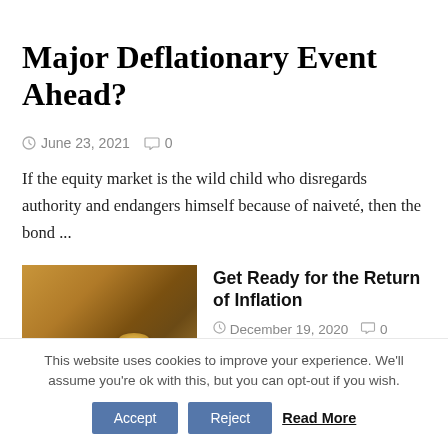Major Deflationary Event Ahead?
⊙ June 23, 2021  ⌂ 0
If the equity market is the wild child who disregards authority and endangers himself because of naiveté, then the bond ...
[Figure (photo): Stack of coins on a dark surface with warm orange/amber background lighting]
Get Ready for the Return of Inflation
⊙ December 19, 2020  ⌂ 0
This website uses cookies to improve your experience. We'll assume you're ok with this, but you can opt-out if you wish. Accept Reject Read More